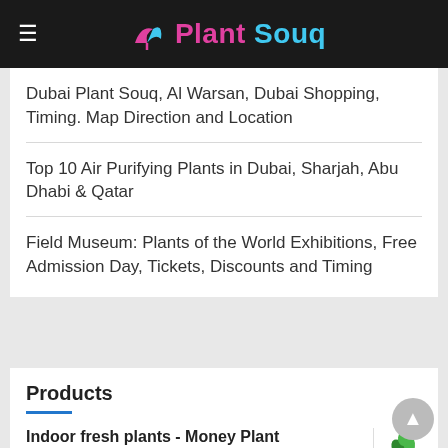Plant Souq
Dubai Plant Souq, Al Warsan, Dubai Shopping, Timing. Map Direction and Location
Top 10 Air Purifying Plants in Dubai, Sharjah, Abu Dhabi & Qatar
Field Museum: Plants of the World Exhibitions, Free Admission Day, Tickets, Discounts and Timing
Products
Indoor fresh plants - Money Plant
كرمة المال